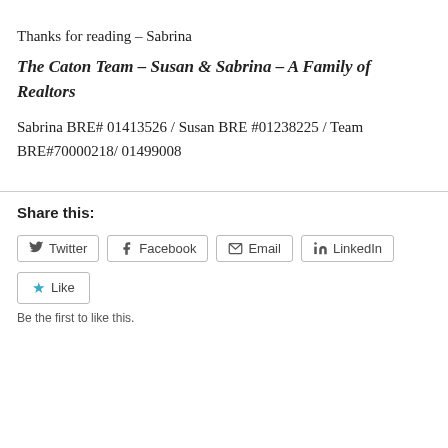Thanks for reading – Sabrina
The Caton Team – Susan & Sabrina – A Family of Realtors
Sabrina BRE# 01413526 / Susan BRE #01238225 / Team BRE#70000218/ 01499008
Share this:
Twitter  Facebook  Email  LinkedIn
Like
Be the first to like this.